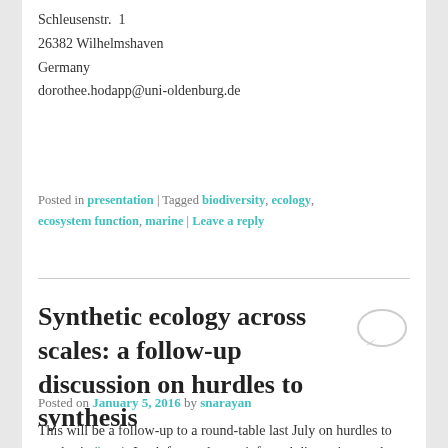Schleusenstr.  1
26382 Wilhelmshaven
Germany
dorothee.hodapp@uni-oldenburg.de
Posted in presentation | Tagged biodiversity, ecology, ecosystem function, marine | Leave a reply
Synthetic ecology across scales: a follow-up discussion on hurdles to synthesis
Posted on January 5, 2016 by snarayan
This will be a follow-up to a round-table last July on hurdles to synthesis (here). Look forward to an informal discussion on the process of data synthesis, based on a poster presentation by the GoA group at the CERE...